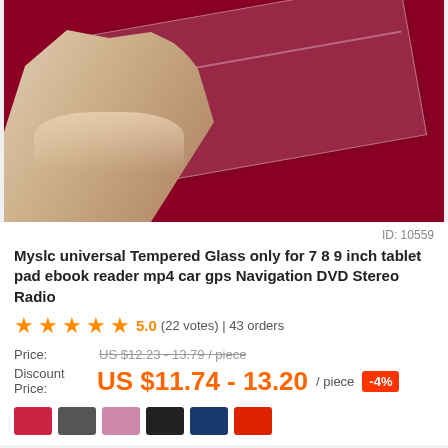[Figure (photo): A hand holding a clear tempered glass screen protector against a dark red/crimson background.]
ID: 10559
Myslc universal Tempered Glass only for 7 8 9 inch tablet pad ebook reader mp4 car gps Navigation DVD Stereo Radio
★★★★★ 5.0 (22 votes) | 43 orders
Price: US $12.23 - 13.79 / piece
Discount Price: US $11.74 - 13.20 / piece -4%